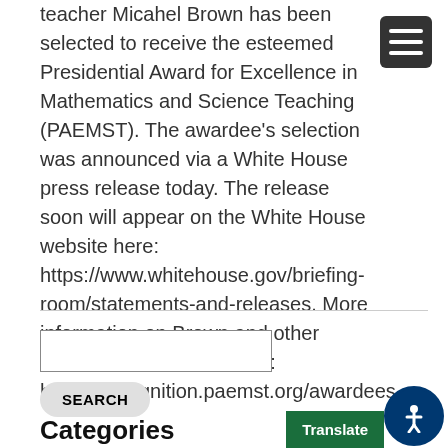teacher Micahel Brown has been selected to receive the esteemed Presidential Award for Excellence in Mathematics and Science Teaching (PAEMST). The awardee's selection was announced via a White House press release today. The release soon will appear on the White House website here: https://www.whitehouse.gov/briefing-room/statements-and-releases. More information on Brown and other awardees can be found at: https://recognition.paemst.org/awardees.
[Figure (other): Hamburger menu icon (three horizontal white lines on dark grey background)]
SEARCH (search input box and button)
Categories
[Figure (other): Translate button (green background with white text) and accessibility icon (blue circle with person figure)]